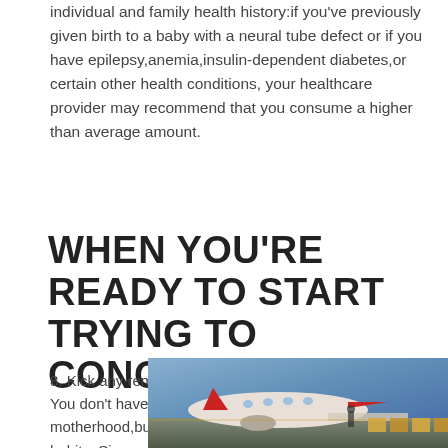individual and family health history:if you've previously given birth to a baby with a neural tube defect or if you have epilepsy,anemia,insulin-dependent diabetes,or certain other health conditions, your healthcare provider may recommend that you consume a higher than average amount.
WHEN YOU'RE READY TO START TRYING TO CONCEIVE
8. Kick any remaining bad habits
You don't have to be a saint to be a candidate for motherhood,but it doesn't hurt to have a few saintly habits. Since no safe level of alcohol consumption has been established for
[Figure (photo): Advertisement banner showing a cargo airplane being loaded, with a dark panel on the right reading 'WITHOUT REGARD TO POLITICS, RELIGION, OR ABILITY TO PAY']